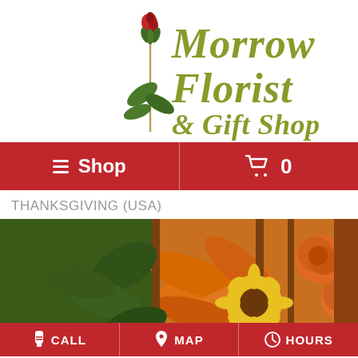[Figure (logo): Morrow Florist & Gift Shop logo with a red rose stem on the left and olive-green italic script text reading 'Morrow Florist & Gift Shop' on the right]
≡ Shop  🛒 0
THANKSGIVING (USA)
[Figure (photo): Close-up photo of orange lilies, orange roses, yellow sunflower, and green leaves in a Thanksgiving floral arrangement]
📱 CALL   📍 MAP   🕐 HOURS